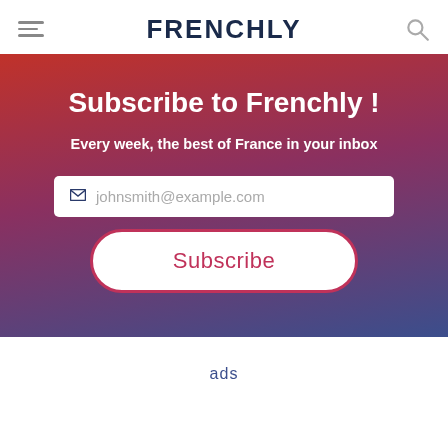FRENCHLY
Subscribe to Frenchly !
Every week, the best of France in your inbox
johnsmith@example.com
Subscribe
ads